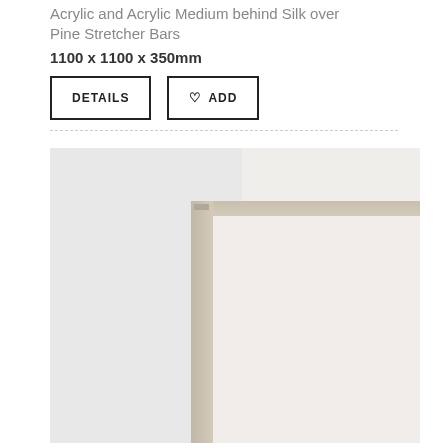Acrylic and Acrylic Medium behind Silk over Pine Stretcher Bars
1100 x 1100 x 350mm
DETAILS
♡ ADD
[Figure (photo): Close-up photograph showing the corner of a white silk canvas stretched over wooden pine stretcher bars, against a white/light grey wall background. The wood frame is visible in the lower-right portion of the image showing the natural tan/beige wood grain texture.]